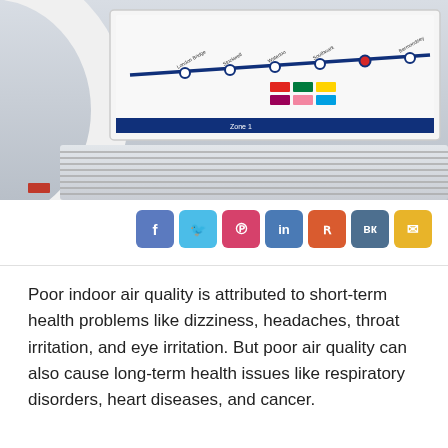[Figure (photo): Close-up photo of an overhead panel inside a London Underground train, showing a tube map and ventilation grilles, with a white handrail in the foreground.]
[Figure (infographic): Social media sharing buttons row: Facebook (blue), Twitter (cyan), Pinterest (pink-red), LinkedIn (blue), Reddit (orange-red), VK (slate blue), Email (yellow).]
Poor indoor air quality is attributed to short-term health problems like dizziness, headaches, throat irritation, and eye irritation. But poor air quality can also cause long-term health issues like respiratory disorders, heart diseases, and cancer.